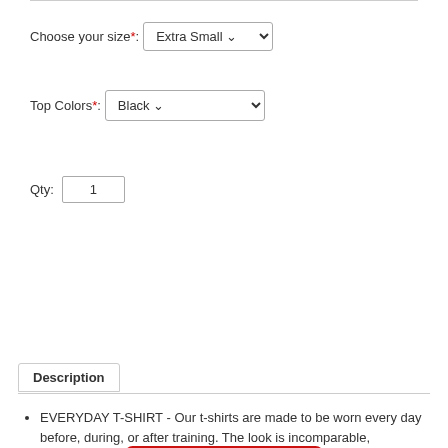Choose your size*: Extra Small
Top Colors*: Black
Qty: 1
Add To Cart
Add To Wishlist
Description
EVERYDAY T-SHIRT - Our t-shirts are made to be worn every day before, during, or after training. The look is incomparable,